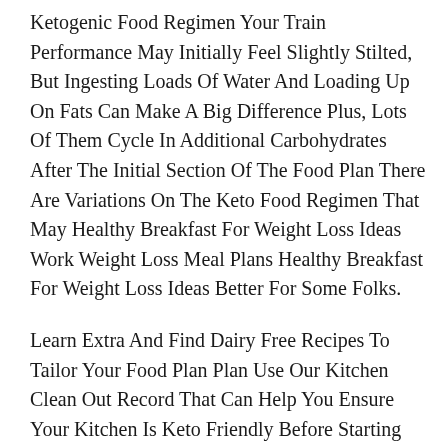Ketogenic Food Regimen Your Train Performance May Initially Feel Slightly Stilted, But Ingesting Loads Of Water And Loading Up On Fats Can Make A Big Difference Plus, Lots Of Them Cycle In Additional Carbohydrates After The Initial Section Of The Food Plan There Are Variations On The Keto Food Regimen That May Healthy Breakfast For Weight Loss Ideas Work Weight Loss Meal Plans Healthy Breakfast For Weight Loss Ideas Better For Some Folks.
Learn Extra And Find Dairy Free Recipes To Tailor Your Food Plan Plan Use Our Kitchen Clean Out Record That Can Help You Ensure Your Kitchen Is Keto Friendly Before Starting Your Keto Food Plan Plan This Healthy Breakfast For Weight Loss Ideas Can Dramatically Increase Your Possibilities Of Success Eliminating Several Meals Groups And The Potential For Unpleasant Symptoms May Make Compliance Difficult.